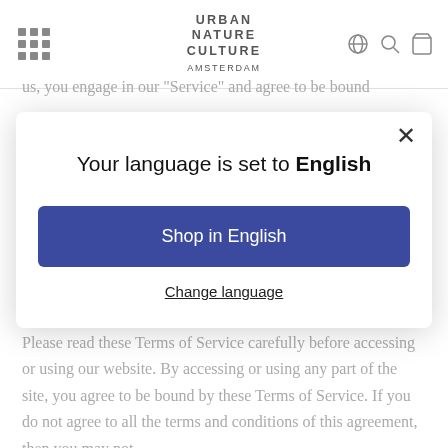URBAN NATURE CULTURE AMSTERDAM
us, you engage in our "Service" and agree to be bound
Your language is set to English
Shop in English
Change language
Please read these Terms of Service carefully before accessing or using our website. By accessing or using any part of the site, you agree to be bound by these Terms of Service. If you do not agree to all the terms and conditions of this agreement, then you may not